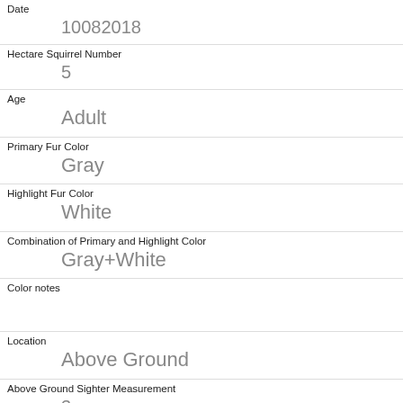Date: 10082018
Hectare Squirrel Number: 5
Age: Adult
Primary Fur Color: Gray
Highlight Fur Color: White
Combination of Primary and Highlight Color: Gray+White
Color notes
Location: Above Ground
Above Ground Sighter Measurement: 3
Specific Location: trash can
Running